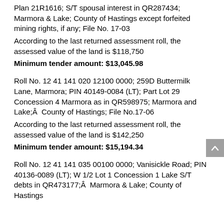Plan 21R1616; S/T spousal interest in QR287434; Marmora & Lake; County of Hastings except forfeited mining rights, if any; File No. 17-03
According to the last returned assessment roll, the assessed value of the land is $118,750
Minimum tender amount: $13,045.98
Roll No. 12 41 141 020 12100 0000; 259D Buttermilk Lane, Marmora; PIN 40149-0084 (LT); Part Lot 29 Concession 4 Marmora as in QR598975; Marmora and Lake;Â  County of Hastings; File No.17-06
According to the last returned assessment roll, the assessed value of the land is $142,250
Minimum tender amount: $15,194.34
Roll No. 12 41 141 035 00100 0000; Vanisickle Road; PIN 40136-0089 (LT); W 1/2 Lot 1 Concession 1 Lake S/T debts in QR473177;Â  Marmora & Lake; County of Hastings...